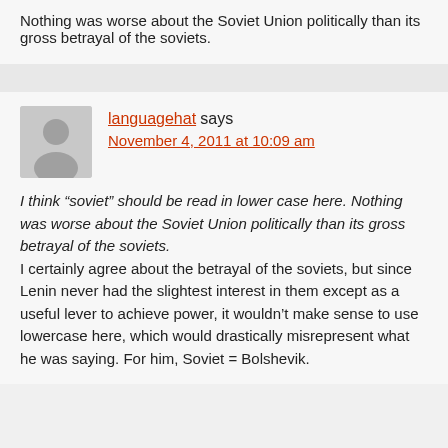Nothing was worse about the Soviet Union politically than its gross betrayal of the soviets.
languagehat says
November 4, 2011 at 10:09 am

I think “soviet” should be read in lower case here. Nothing was worse about the Soviet Union politically than its gross betrayal of the soviets.
I certainly agree about the betrayal of the soviets, but since Lenin never had the slightest interest in them except as a useful lever to achieve power, it wouldn’t make sense to use lowercase here, which would drastically misrepresent what he was saying. For him, Soviet = Bolshevik.